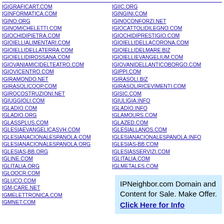IGIGRAFICART.COM
IGINFORMATICA.COM
IGINO.ORG
IGINOMICHELETTI.COM
IGIOCHIDIPIETRA.COM
IGIOIELLIALIMENTARI.COM
IGIOIELLIDELLATERRA.COM
IGIOIELLIDIROSSANA.COM
IGIOVANIAMIСIDELTEATRO.COM
IGIOVICENTRO.COM
IGIRAMONDO.NET
IGIRASOLICOOP.COM
IGIROCOSTRUZIONI.NET
IGIUGGIOLI.COM
IGLADIO.COM
IGLADIO.ORG
IGLASSPLUS.COM
IGLESIAEVANGELICASVH.COM
IGLESIANACIONALESPANOLA.COM
IGLESIANACIONALESPANOLA.ORG
IGLESIAS-BB.ORG
IGLINE.COM
IGLITALIA.ORG
IGLOOCR.COM
IGLUCO.COM
IGM-CARE.NET
IGMELETTRONICA.COM
IGMNET.COM
IGIIC.ORG
IGINGINI.COM
IGINOCONFORZI.NET
IGIOCATTOLIDILEGNO.COM
IGIOCHIDIPRESTIGIO.COM
IGIOIELLIDELLACORONA.COM
IGIOIELLIDELMARE.BIZ
IGIOIELLIEVANGELIUM.COM
IGIOVANIDELLANTICOBORGO.COM
IGIPPI.COM
IGIRASOLI.BIZ
IGIRASOLIRICEVIMENTI.COM
IGISIC.COM
IGIULIGIA.INFO
IGLADIO.INFO
IGLAMOURS.COM
IGLAZED.COM
IGLESIALLANOS.COM
IGLESIANACIONALESPANOLA.INFO
IGLESIAS-BB.COM
IGLESIASSERVIZI.COM
IGLITALIA.COM
IGLMETALES.COM
IPNeighbor.com Domain and Content for Sale. Make Offer. Click Here for Info